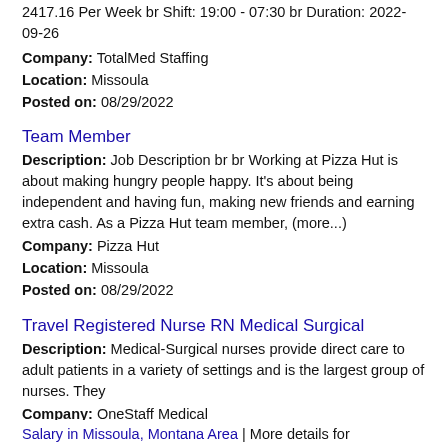2417.16 Per Week br Shift: 19:00 - 07:30 br Duration: 2022-09-26
Company: TotalMed Staffing
Location: Missoula
Posted on: 08/29/2022
Team Member
Description: Job Description br br Working at Pizza Hut is about making hungry people happy. It's about being independent and having fun, making new friends and earning extra cash. As a Pizza Hut team member, (more...)
Company: Pizza Hut
Location: Missoula
Posted on: 08/29/2022
Travel Registered Nurse RN Medical Surgical
Description: Medical-Surgical nurses provide direct care to adult patients in a variety of settings and is the largest group of nurses. They
Company: OneStaff Medical
Location: Missoula
Posted on: 08/29/2022
Salary in Missoula, Montana Area | More details for